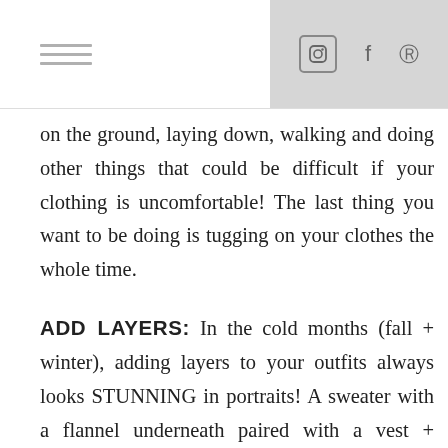[hamburger menu icon] [instagram icon] [facebook icon] [pinterest icon]
on the ground, laying down, walking and doing other things that could be difficult if your clothing is uncomfortable! The last thing you want to be doing is tugging on your clothes the whole time.
ADD LAYERS: In the cold months (fall + winter), adding layers to your outfits always looks STUNNING in portraits! A sweater with a flannel underneath paired with a vest + necklace or scarf adds so much dimension to your images and makes for gorgeous, interesting portraits. The